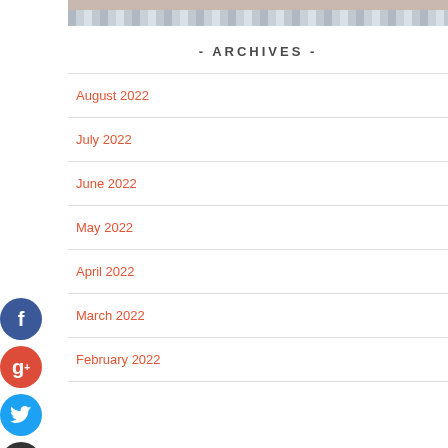[Figure (photo): Top portion of a person's photo, showing clothing with stripes]
- ARCHIVES -
August 2022
July 2022
June 2022
May 2022
April 2022
March 2022
February 2022